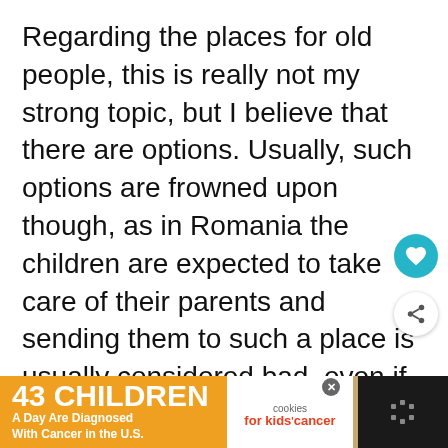Regarding the places for old people, this is really not my strong topic, but I believe that there are options. Usually, such options are frowned upon though, as in Romania the children are expected to take care of their parents and sending them to such a place is usually considered bad, even if the conditions there are great and they get better care than they would get at home from people living their own lives and having no medical
[Figure (infographic): Advertisement banner: orange section with '43 CHILDREN A Day Are Diagnosed With Cancer in the U.S.', cookies for kids cancer logo in middle, 'Let's Get Baking' text on right with cookie image background]